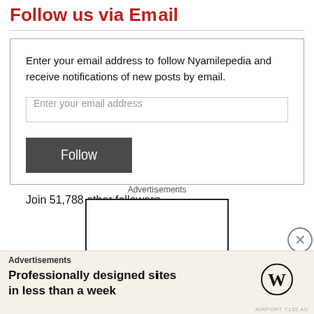Follow us via Email
Enter your email address to follow Nyamilepedia and receive notifications of new posts by email.
Enter your email address
Follow
Join 51,788 other followers
Advertisements
Advertisements
Professionally designed sites in less than a week